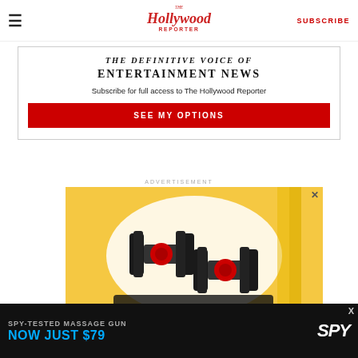The Hollywood Reporter | SUBSCRIBE
THE DEFINITIVE VOICE OF ENTERTAINMENT NEWS
Subscribe for full access to The Hollywood Reporter
SEE MY OPTIONS
ADVERTISEMENT
[Figure (photo): Advertisement showing adjustable dumbbells on a yellow background with a close button (X)]
[Figure (photo): Bottom banner advertisement: SPY-TESTED MASSAGE GUN NOW JUST $79 with SPY logo on dark background]